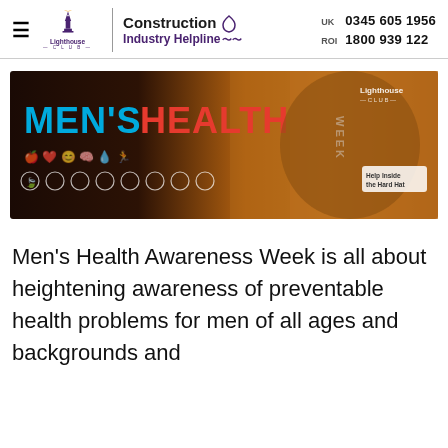Construction Industry Helpline | UK 0345 605 1956 | ROI 1800 939 122
[Figure (photo): Men's Health Week banner image with a bearded man smiling, overlaid with health icons and the text MEN'S HEALTH WEEK in blue and red, with Lighthouse Club logo and 'Help Inside the Hard Hat']
Men's Health Awareness Week is all about heightening awareness of preventable health problems for men of all ages and backgrounds and